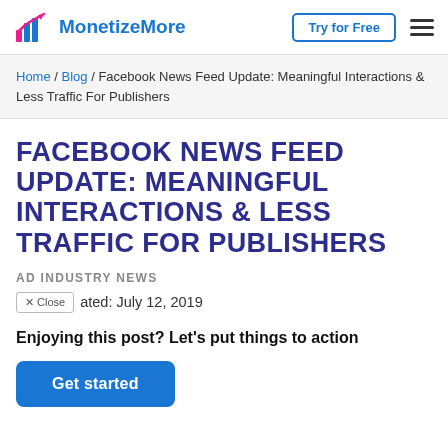MonetizeMore | Try for Free
Home / Blog / Facebook News Feed Update: Meaningful Interactions & Less Traffic For Publishers
FACEBOOK NEWS FEED UPDATE: MEANINGFUL INTERACTIONS & LESS TRAFFIC FOR PUBLISHERS
AD INDUSTRY NEWS
Last updated: July 12, 2019
Enjoying this post? Let's put things to action
Get started